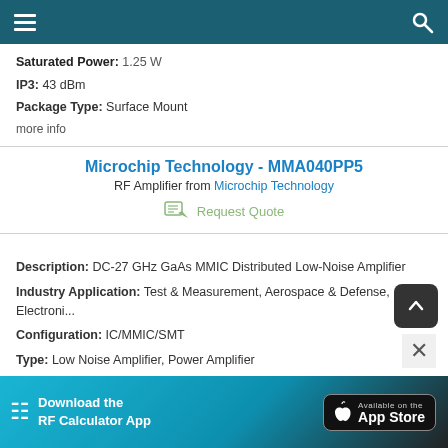Navigation bar with menu and search
Saturated Power: 1.25 W
IP3: 43 dBm
Package Type: Surface Mount
more info
Microchip Technology - MMA040PP5
RF Amplifier from Microchip Technology
Request Quote
Description: DC-27 GHz GaAs MMIC Distributed Low-Noise Amplifier
Industry Application: Test & Measurement, Aerospace & Defense, Electroni...
Configuration: IC/MMIC/SMT
Type: Low Noise Amplifier, Power Amplifier
Frequency: DC to 27 GHz
[Figure (screenshot): Download the RF Calculator App - Available on the App Store banner]